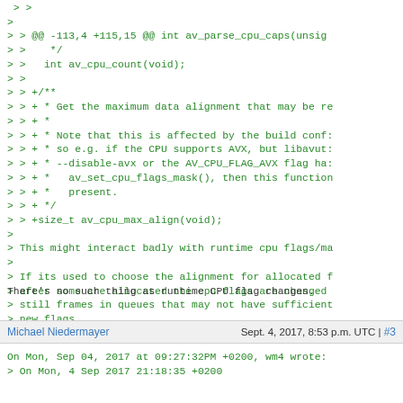> >
>
> > @@ -113,4 +115,15 @@ int av_parse_cpu_caps(unsig
> >    */
> >   int av_cpu_count(void);
> >
> > +/**
> > + * Get the maximum data alignment that may be re
> > + *
> > + * Note that this is affected by the build conf:
> > + * so e.g. if the CPU supports AVX, but libavut:
> > + * --disable-avx or the AV_CPU_FLAG_AVX flag ha:
> > + *   av_set_cpu_flags_mask(), then this function
> > + *   present.
> > + */
> > +size_t av_cpu_max_align(void);
>
> This might interact badly with runtime cpu flags/ma
>
> If its used to choose the alignment for allocated f
> after some are allocated the cpu flags are changed
> still frames in queues that may not have sufficient
> new flags
There's no such thing as runtime CPU flag changes.
Michael Niedermayer   Sept. 4, 2017, 8:53 p.m. UTC | #3
On Mon, Sep 04, 2017 at 09:27:32PM +0200, wm4 wrote:
> On Mon, 4 Sep 2017 21:18:35 +0200